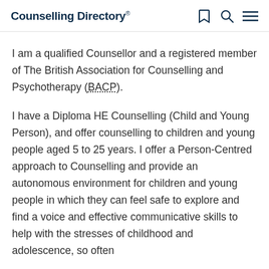Counselling Directory
I am a qualified Counsellor and a registered member of The British Association for Counselling and Psychotherapy (BACP).
I have a Diploma HE Counselling (Child and Young Person), and offer counselling to children and young people aged 5 to 25 years. I offer a Person-Centred approach to Counselling and provide an autonomous environment for children and young people in which they can feel safe to explore and find a voice and effective communicative skills to help with the stresses of childhood and adolescence, so often experienced by our children and adolescents.